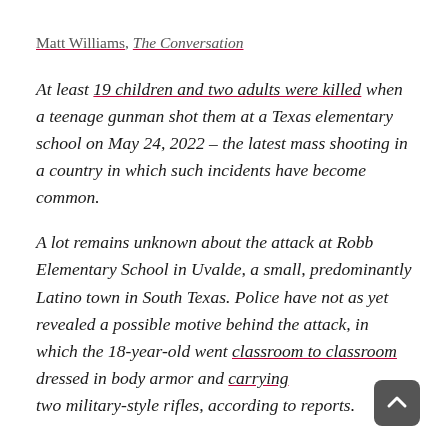Matt Williams, The Conversation
At least 19 children and two adults were killed when a teenage gunman shot them at a Texas elementary school on May 24, 2022 – the latest mass shooting in a country in which such incidents have become common.
A lot remains unknown about the attack at Robb Elementary School in Uvalde, a small, predominantly Latino town in South Texas. Police have not as yet revealed a possible motive behind the attack, in which the 18-year-old went classroom to classroom dressed in body armor and carrying two military-style rifles, according to reports.